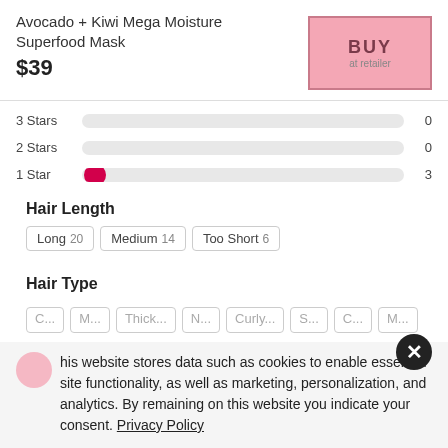Avocado + Kiwi Mega Moisture Superfood Mask
$39
BUY
3 Stars  0
2 Stars  0
1 Star  3
Hair Length
Long 20   Medium 14   Too Short 6
Hair Type
This website stores data such as cookies to enable essential site functionality, as well as marketing, personalization, and analytics. By remaining on this website you indicate your consent. Privacy Policy